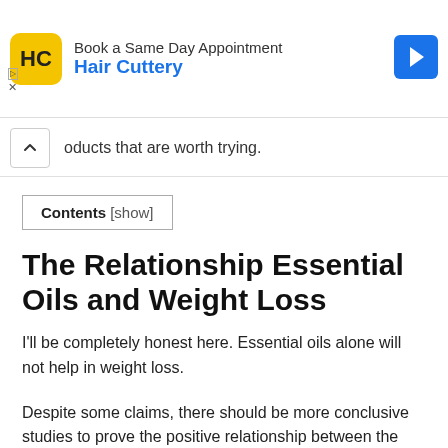[Figure (screenshot): Advertisement banner for Hair Cuttery with yellow HC logo, blue arrow icon, and ad labels]
oducts that are worth trying.
Contents [show]
The Relationship Essential Oils and Weight Loss
I'll be completely honest here. Essential oils alone will not help in weight loss.
Despite some claims, there should be more conclusive studies to prove the positive relationship between the two.
Nonetheless, this doesn't mean that this article is